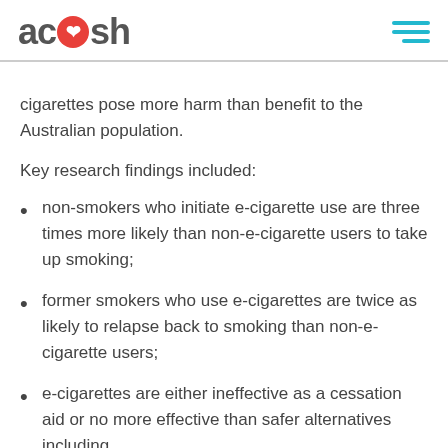acosh
cigarettes pose more harm than benefit to the Australian population.
Key research findings included:
non-smokers who initiate e-cigarette use are three times more likely than non-e-cigarette users to take up smoking;
former smokers who use e-cigarettes are twice as likely to relapse back to smoking than non-e-cigarette users;
e-cigarettes are either ineffective as a cessation aid or no more effective than safer alternatives including